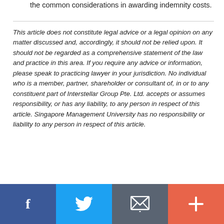the common considerations in awarding indemnity costs.
This article does not constitute legal advice or a legal opinion on any matter discussed and, accordingly, it should not be relied upon. It should not be regarded as a comprehensive statement of the law and practice in this area. If you require any advice or information, please speak to practicing lawyer in your jurisdiction. No individual who is a member, partner, shareholder or consultant of, in or to any constituent part of Interstellar Group Pte. Ltd. accepts or assumes responsibility, or has any liability, to any person in respect of this article. Singapore Management University has no responsibility or liability to any person in respect of this article.
[Figure (other): Social sharing bar with four buttons: Facebook (blue), Twitter (light blue), Email (dark grey), More/Plus (orange-red)]